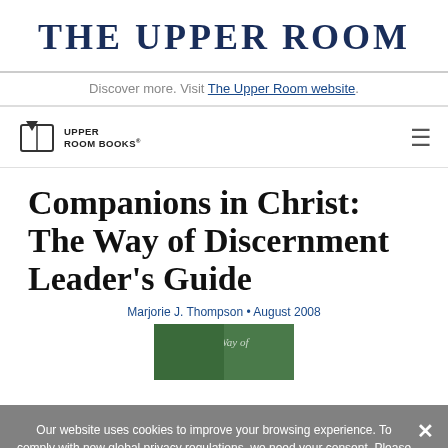THE UPPER ROOM
Discover more. Visit The Upper Room website.
[Figure (logo): Upper Room Books logo with book icon and text]
Companions in Christ: The Way of Discernment Leader’s Guide
Marjorie J. Thompson • August 2008
[Figure (photo): Book cover thumbnail showing The Way of Discernment in green]
Our website uses cookies to improve your browsing experience. To comply with new global privacy regulations, we need your consent. Please review our updated Privacy Policy to learn more. To provide consent click "Accept".